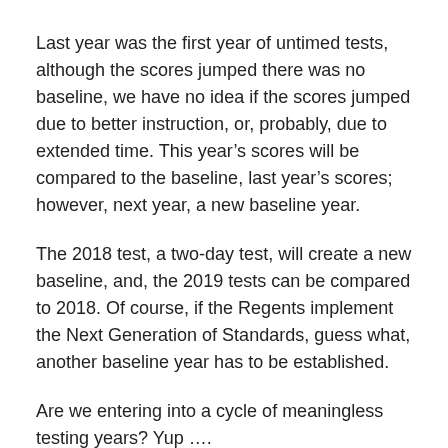Last year was the first year of untimed tests, although the scores jumped there was no baseline, we have no idea if the scores jumped due to better instruction, or, probably, due to extended time. This year’s scores will be compared to the baseline, last year’s scores; however, next year, a new baseline year.
The 2018 test, a two-day test, will create a new baseline, and, the 2019 tests can be compared to 2018. Of course, if the Regents implement the Next Generation of Standards, guess what, another baseline year has to be established.
Are we entering into a cycle of meaningless testing years? Yup ….
Next year the Regents will begin to explore alternative